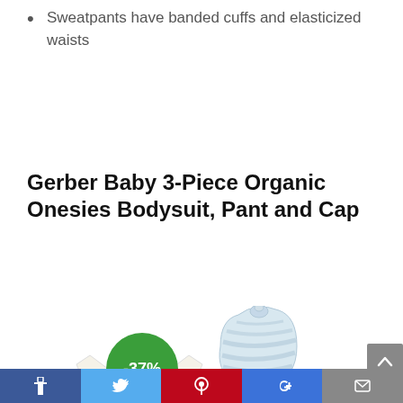Sweatpants have banded cuffs and elasticized waists
Gerber Baby 3-Piece Organic Onesies Bodysuit, Pant and Cap
[Figure (photo): Product photo showing a cream-colored baby onesie bodysuit and a blue-and-white striped baby knot hat, with a green circular badge showing -37% discount, and a gray scroll-to-top arrow button on the right edge.]
Social sharing bar with Facebook, Twitter, Pinterest, Google+, and Email buttons